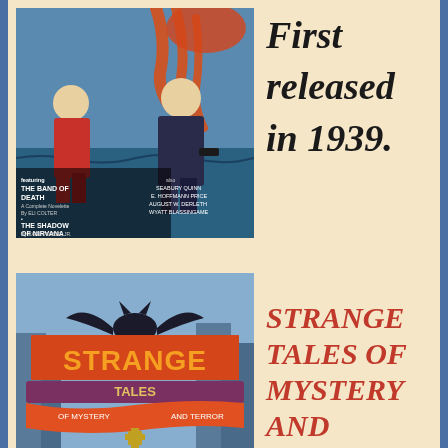[Figure (illustration): Pulp magazine cover showing two figures from behind looking at a creature with tentacles rising from water. Text on cover reads: THE BAND OF DEATH A Complete Novelette By ELI COLTER, THE SHADOW OF NIRVANA By EARL PEIRCE, JR., also SEABURY QUINN, E. HOFFMANN PRICE, AUGUST W. DERLETH, WYATT BLASSINGAME]
First released in 1939.
[Figure (illustration): Strange Tales of Mystery and Terror pulp magazine cover featuring the title STRANGE TALES in large orange letters with a bat silhouette, subtitle OF MYSTERY AND TERROR on a banner]
STRANGE TALES OF MYSTERY AND